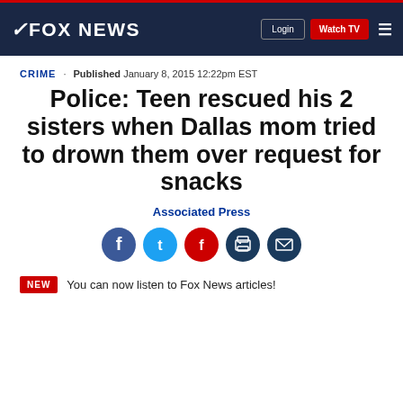FOX NEWS | Login | Watch TV
CRIME · Published January 8, 2015 12:22pm EST
Police: Teen rescued his 2 sisters when Dallas mom tried to drown them over request for snacks
Associated Press
[Figure (infographic): Social sharing icons: Facebook, Twitter, Flipboard, Print, Email]
NEW  You can now listen to Fox News articles!